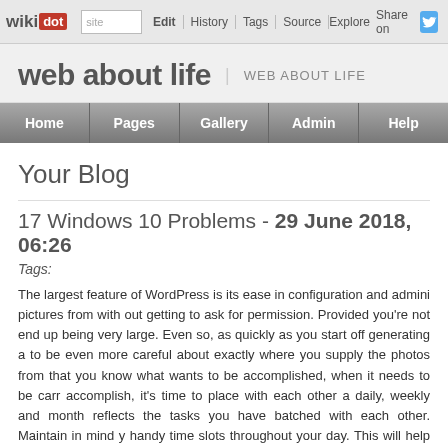wiki dot | Edit | History | Tags | Source | Explore | Share on Twitter
web about life | WEB ABOUT LIFE
Home | Pages | Gallery | Admin | Help
Your Blog
17 Windows 10 Problems - 29 June 2018, 06:26
Tags:
The largest feature of WordPress is its ease in configuration and admini... pictures from with out getting to ask for permission. Provided you're not... end up being very large. Even so, as quickly as you start off generating a... to be even more careful about exactly where you supply the photos from... that you know what wants to be accomplished, when it needs to be carr... accomplish, it's time to place with each other a daily, weekly and month... reflects the tasks you have batched with each other. Maintain in mind y... handy time slots throughout your day. This will help you handle your time... advertising strategy template to produce your own marketing and ac... advertising and marketing activities. Ms Earp recommended those wanti... first let go of expectation, realize that 'Rome wasn't built in a day' and be...